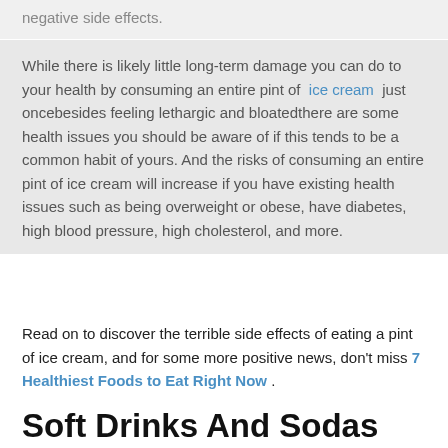negative side effects.
While there is likely little long-term damage you can do to your health by consuming an entire pint of ice cream just oncebesides feeling lethargic and bloatedthere are some health issues you should be aware of if this tends to be a common habit of yours. And the risks of consuming an entire pint of ice cream will increase if you have existing health issues such as being overweight or obese, have diabetes, high blood pressure, high cholesterol, and more.
Read on to discover the terrible side effects of eating a pint of ice cream, and for some more positive news, don't miss 7 Healthiest Foods to Eat Right Now .
Soft Drinks And Sodas